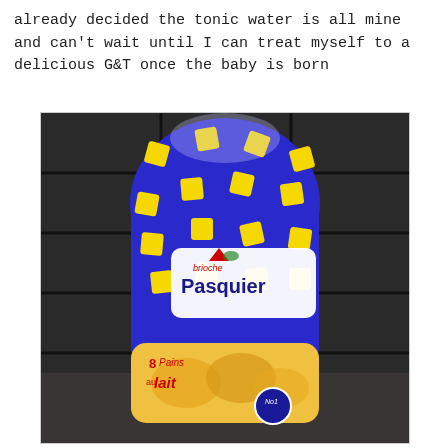already decided the tonic water is all mine and can't wait until I can treat myself to a delicious G&T once the baby is born
[Figure (photo): A bag of Brioche Pasquier 8 Pains au lait bread rolls in blue and yellow packaging with yellow diamond pattern, placed on a dark tiled kitchen countertop.]